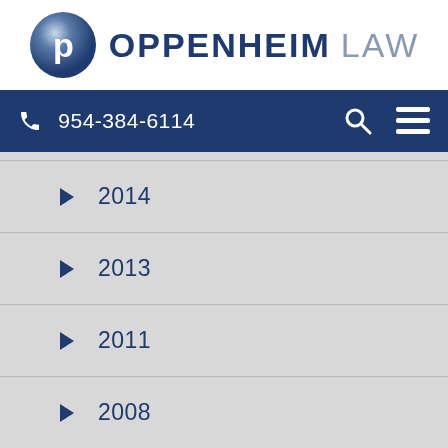[Figure (logo): Oppenheim Law logo with blue circle containing letter P and text OPPENHEIM LAW]
954-384-6114
2014
2013
2011
2008
2005